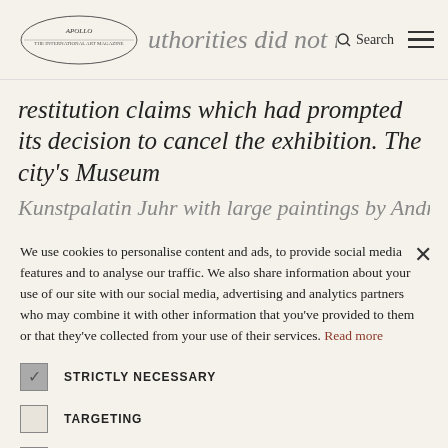authorities did not ide... [logo + search + menu]
restitution claims which had prompted its decision to cancel the exhibition. The city's Museum Kunstpalatin Juhr with large paintings by Andres...
We use cookies to personalise content and ads, to provide social media features and to analyse our traffic. We also share information about your use of our site with our social media, advertising and analytics partners who may combine it with other information that you've provided to them or that they've collected from your use of their services. Read more
STRICTLY NECESSARY
TARGETING
UNCLASSIFIED
ACCEPT ALL
DECLINE ALL
SHOW DETAILS